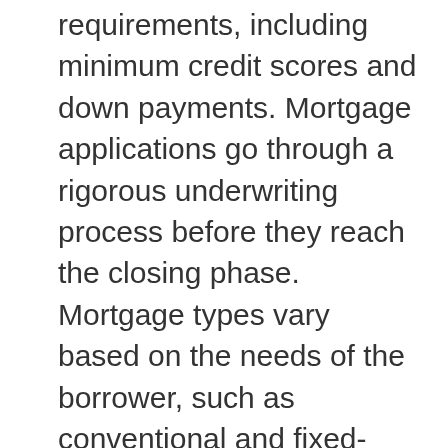requirements, including minimum credit scores and down payments. Mortgage applications go through a rigorous underwriting process before they reach the closing phase. Mortgage types vary based on the needs of the borrower, such as conventional and fixed-rate loans.